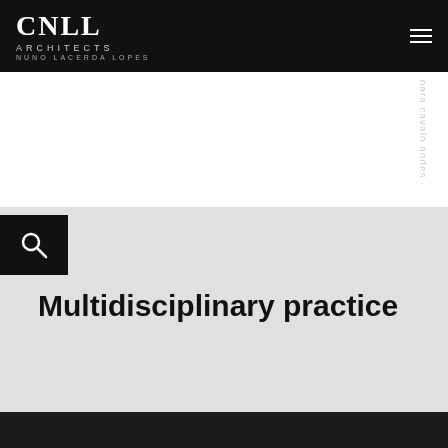CNLL ARCHITECTS NUNO LACERDA LOPES
[Figure (screenshot): Website screenshot of CNLL Architects page showing logo in top left, hamburger menu in top right, vertical rotated watermark text on right side, a search icon button, and the heading 'Multidisciplinary practice' on a light gray background.]
Multidisciplinary practice